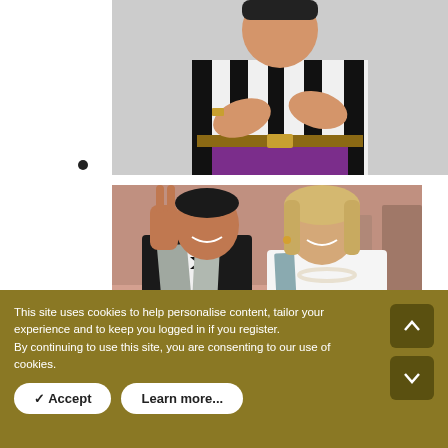[Figure (photo): Person in black and white striped shirt with purple pants and brown belt, arms crossed, against grey background]
•
[Figure (photo): Two people smiling: man in black tuxedo with bow tie and grey scarf raising hand in peace sign, woman in white blazer with grey scarf and pearl necklace]
This site uses cookies to help personalise content, tailor your experience and to keep you logged in if you register.
By continuing to use this site, you are consenting to our use of cookies.
✓ Accept
Learn more...